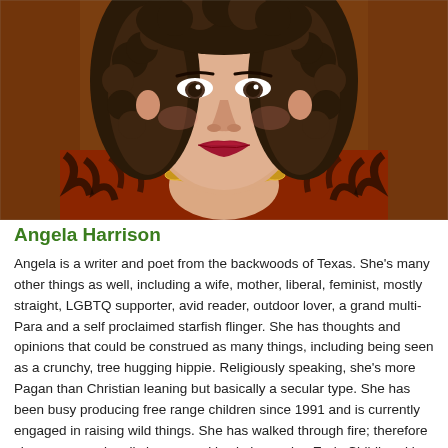[Figure (photo): Close-up portrait photo of a woman with curly dark hair, red lips, wearing a red and black patterned top and a gold chain necklace, photographed against a warm brown background.]
Angela Harrison
Angela is a writer and poet from the backwoods of Texas. She's many other things as well, including a wife, mother, liberal, feminist, mostly straight, LGBTQ supporter, avid reader, outdoor lover, a grand multi-Para and a self proclaimed starfish flinger. She has thoughts and opinions that could be construed as many things, including being seen as a crunchy, tree hugging hippie. Religiously speaking, she's more Pagan than Christian leaning but basically a secular type. She has been busy producing free range children since 1991 and is currently engaged in raising wild things. She has walked through fire; therefore she may occasionally leave sparkles in her wake. Early Childhood is her passion, as evidenced by the seven children that call